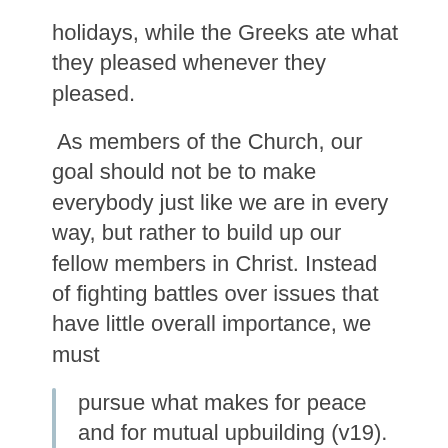holidays, while the Greeks ate what they pleased whenever they pleased.
As members of the Church, our goal should not be to make everybody just like we are in every way, but rather to build up our fellow members in Christ. Instead of fighting battles over issues that have little overall importance, we must
pursue what makes for peace and for mutual upbuilding (v19).